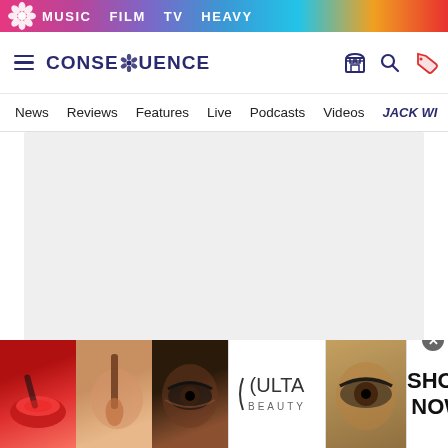MUSIC  FILM  TV  HEAVY
[Figure (screenshot): Consequence of Sound website header with logo, hamburger menu, and navigation icons]
News  Reviews  Features  Live  Podcasts  Videos  JACK W...
[Figure (infographic): Ulta Beauty advertisement banner showing makeup/beauty images with SHOP NOW call to action]